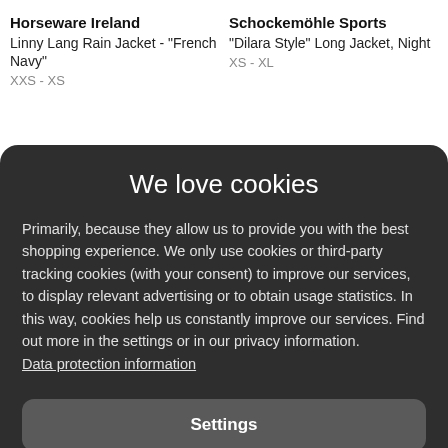Horseware Ireland
Linny Lang Rain Jacket - "French Navy"
XXS - XS
Schockemöhle Sports
"Dilara Style" Long Jacket, Night
XS - XL
We love cookies
Primarily, because they allow us to provide you with the best shopping experience. We only use cookies or third-party tracking cookies (with your consent) to improve our services, to display relevant advertising or to obtain usage statistics. In this way, cookies help us constantly improve our services. Find out more in the settings or in our privacy information.
Data protection information
Settings
Reject all
Accept all